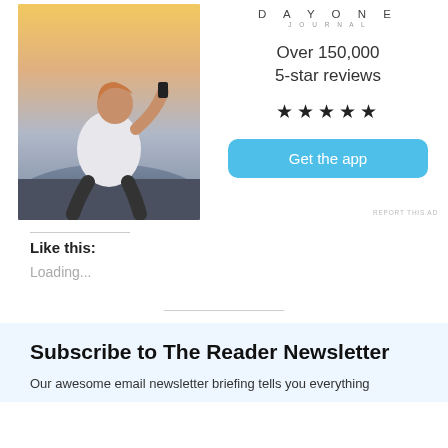[Figure (photo): Advertisement for Day One Journal app. Left side shows a photo of a man sitting on rocks outdoors holding a phone. Right side shows the Day One Journal logo, text 'Over 150,000 5-star reviews', five black stars, and a blue 'Get the app' button.]
REPORT THIS AD
Like this:
Loading...
Subscribe to The Reader Newsletter
Our awesome email newsletter briefing tells you everything